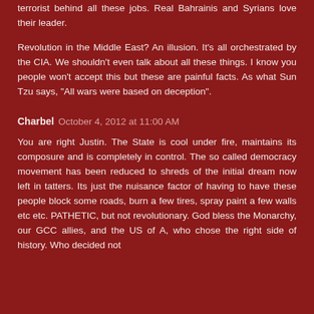terrorist behind all these jobs. Real Bahrainis and Syrians love their leader.
Revolution in the Middle East? An illusion. It's all orchestrated by the CIA. We shouldn't even talk about all these things. I know you people won't accept this but these are painful facts. As what Sun Tzu says, "All wars were based on deception".
Charbel October 4, 2012 at 11:00 AM
You are right Justin. The State is cool under fire, maintains its composure and is completely in control. The so called democracy movement has been reduced to shreds of the initial dream now left in tatters. Its just the nuisance factor of having to have these people block some roads, burn a few tires, spray paint a few walls etc etc. PATHETIC, but not revolutionary. God bless the Monarchy, our GCC allies, and the US of A, who chose the right side of history. Who decided not